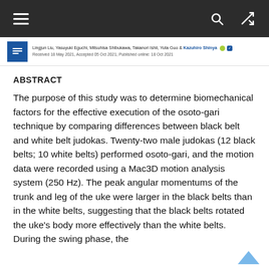Navigation bar with hamburger menu, search icon, and shuffle icon
Lingjun Liu, Yasuyuki Eguchi, Mitsuhisa Shibukawa, Takanori Ishii, Yuta Guo and Kazuhiro Shinjo. Received 18 May 2021, Accepted 05 Oct 2021, Published online: 18 Oct 2021
ABSTRACT
The purpose of this study was to determine biomechanical factors for the effective execution of the osoto-gari technique by comparing differences between black belt and white belt judokas. Twenty-two male judokas (12 black belts; 10 white belts) performed osoto-gari, and the motion data were recorded using a Mac3D motion analysis system (250 Hz). The peak angular momentums of the trunk and leg of the uke were larger in the black belts than in the white belts, suggesting that the black belts rotated the uke's body more effectively than the white belts. During the swing phase, the